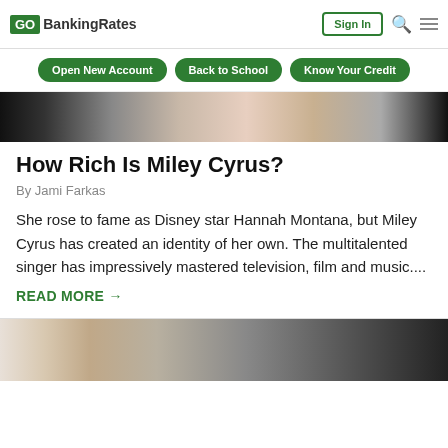GOBankingRates | Sign In
Open New Account | Back to School | Know Your Credit
[Figure (photo): Partial photo of Miley Cyrus at top of article]
How Rich Is Miley Cyrus?
By Jami Farkas
She rose to fame as Disney star Hannah Montana, but Miley Cyrus has created an identity of her own. The multitalented singer has impressively mastered television, film and music....
READ MORE →
[Figure (photo): Partial photo at bottom of page for next article]